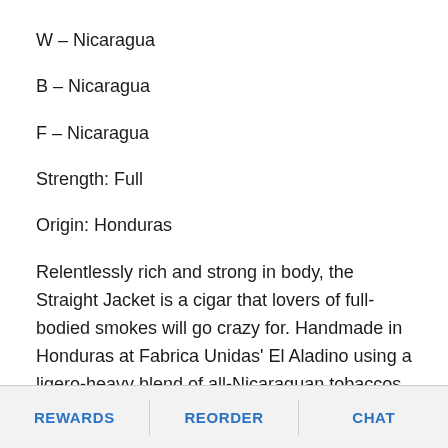W – Nicaragua
B – Nicaragua
F – Nicaragua
Strength: Full
Origin: Honduras
Relentlessly rich and strong in body, the Straight Jacket is a cigar that lovers of full-bodied smokes will go crazy for. Handmade in Honduras at Fabrica Unidas' El Aladino using a ligero-heavy blend of all-Nicaraguan tobaccos, these potent puros emit a storm of satisfying flavor with bold
REWARDS   REORDER   CHAT